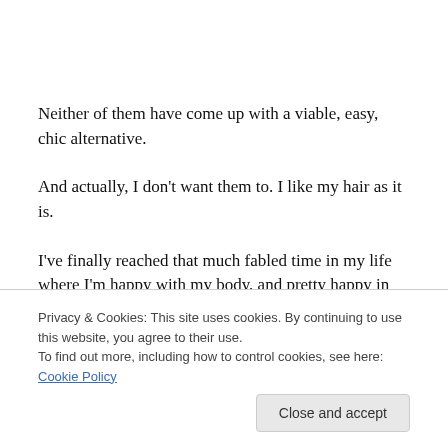Neither of them have come up with a viable, easy, chic alternative.
And actually, I don't want them to. I like my hair as it is.
I've finally reached that much fabled time in my life where I'm happy with my body, and pretty happy in my skin. I actually like my hair like this, and I choose to wear it in a bun because I'm a bun kind of person. It feels as much a trademark as my BFF's blonde locks or a slash of blood
Privacy & Cookies: This site uses cookies. By continuing to use this website, you agree to their use.
To find out more, including how to control cookies, see here: Cookie Policy
Close and accept